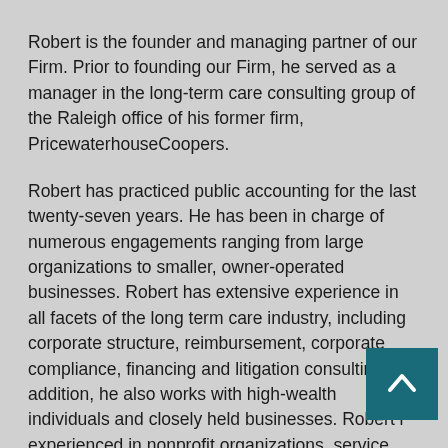Robert is the founder and managing partner of our Firm. Prior to founding our Firm, he served as a manager in the long-term care consulting group of the Raleigh office of his former firm, PricewaterhouseCoopers.
Robert has practiced public accounting for the last twenty-seven years. He has been in charge of numerous engagements ranging from large organizations to smaller, owner-operated businesses. Robert has extensive experience in all facets of the long term care industry, including corporate structure, reimbursement, corporate compliance, financing and litigation consulting. In addition, he also works with high-wealth individuals and closely held businesses. Robert is experienced in nonprofit organizations, service industries, construction, manufacturing, retailing and real estate. He has assisted numerous clients with business planning, cash flow strategies and cash management, operating